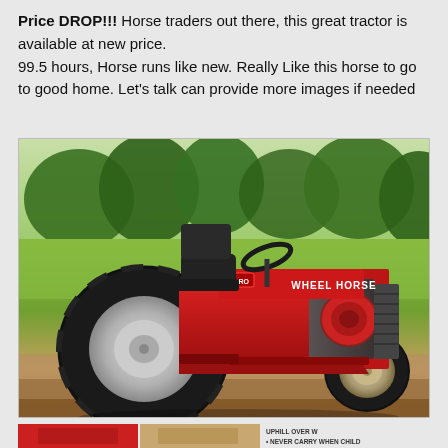Price DROP!!! Horse traders out there, this great tractor is available at new price.
99.5 hours, Horse runs like new. Really Like this horse to go to good home. Let's talk can provide more images if needed
[Figure (photo): Red Toro Wheel Horse riding lawn tractor/mower parked on grass in a yard with trees in the background. The tractor is bright red with black seat and steering wheel, large rear tires with chrome wheels, and smaller front tires. The engine is visible on the side.]
[Figure (photo): Bottom strip showing three partial thumbnail images, the right one partially showing safety warning text including 'UPHILL OVER W' and 'NEVER CARRY WHEN CHILD']